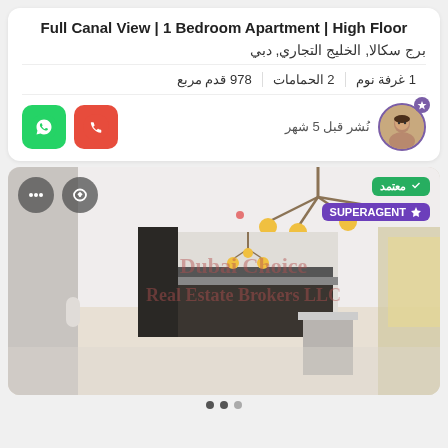Full Canal View | 1 Bedroom Apartment | High Floor
برج سكالا, الخليج التجاري, دبي
1 غرفة نوم   |   2 الحمامات   |   978 قدم مربع
نُشر قبل 5 شهر
[Figure (photo): Interior photo of an apartment living room/kitchen area with modern chandelier and watermark 'Dubai Choice Real Estate Brokers LLC']